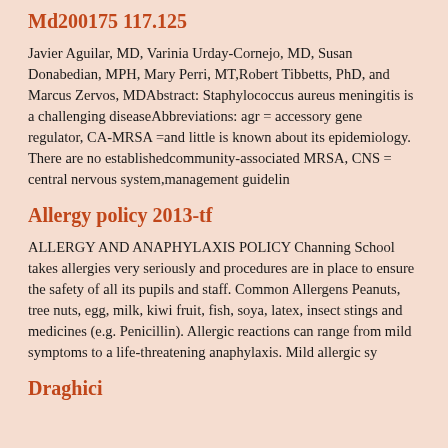Md200175 117.125
Javier Aguilar, MD, Varinia Urday-Cornejo, MD, Susan Donabedian, MPH, Mary Perri, MT,Robert Tibbetts, PhD, and Marcus Zervos, MDAbstract: Staphylococcus aureus meningitis is a challenging diseaseAbbreviations: agr = accessory gene regulator, CA-MRSA =and little is known about its epidemiology. There are no establishedcommunity-associated MRSA, CNS = central nervous system,management guidelin
Allergy policy 2013-tf
ALLERGY AND ANAPHYLAXIS POLICY Channing School takes allergies very seriously and procedures are in place to ensure the safety of all its pupils and staff. Common Allergens Peanuts, tree nuts, egg, milk, kiwi fruit, fish, soya, latex, insect stings and medicines (e.g. Penicillin). Allergic reactions can range from mild symptoms to a life-threatening anaphylaxis. Mild allergic sy
Draghici